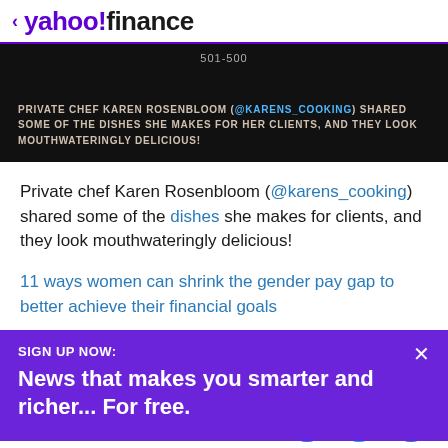< yahoo!finance
[Figure (screenshot): Dark video thumbnail showing text: '501-500' at top center, and caption 'PRIVATE CHEF KAREN ROSENBLOOM (@KARENS_COOKING) SHARED SOME OF THE DISHES SHE MAKES FOR HER CLIENTS, AND THEY LOOK MOUTHWATERINGLY DELICIOUS!']
Private chef Karen Rosenbloom (@karens_cooking) shared some of the dishes she makes for clients, and they look mouthwateringly delicious!
11 ways women can shrink the gender pay gap to better achieve their financial goals
SIGN UP NOW:
News that makes you smarter and richer... For free.